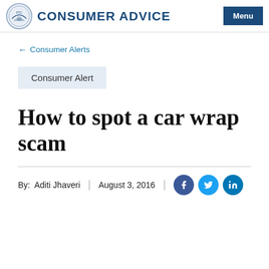CONSUMER ADVICE
← Consumer Alerts
Consumer Alert
How to spot a car wrap scam
By: Aditi Jhaveri | August 3, 2016